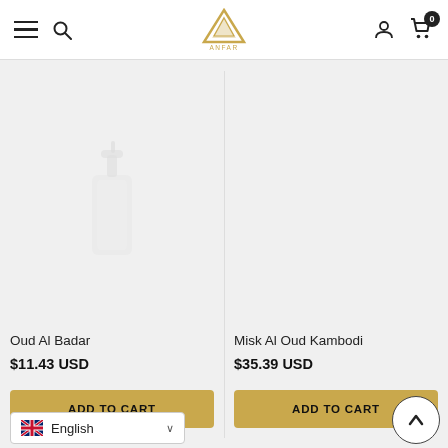[Figure (screenshot): Website header with hamburger menu, search icon, ANFAR gold logo (triangle/mountain shape), user account icon, and shopping cart with badge showing 0]
[Figure (photo): Product image: white/cream colored lotion or soap dispenser bottle, faint/ghosted appearance on light grey background]
Oud Al Badar
$11.43 USD
ADD TO CART
Misk Al Oud Kambodi
$35.39 USD
ADD TO CART
English